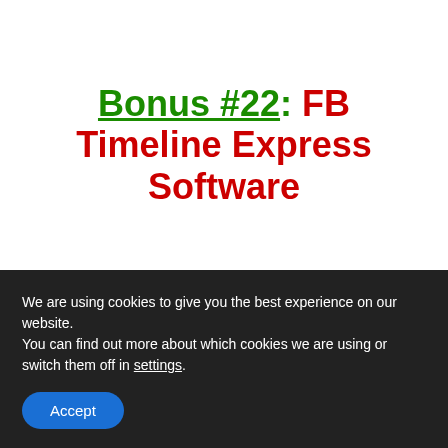Bonus #22: FB Timeline Express Software
We are using cookies to give you the best experience on our website.
You can find out more about which cookies we are using or switch them off in settings.